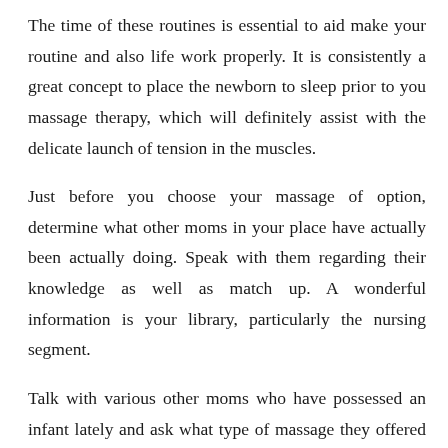The time of these routines is essential to aid make your routine and also life work properly. It is consistently a great concept to place the newborn to sleep prior to you massage therapy, which will definitely assist with the delicate launch of tension in the muscles.
Just before you choose your massage of option, determine what other moms in your place have actually been actually doing. Speak with them regarding their knowledge as well as match up. A wonderful information is your library, particularly the nursing segment.
Talk with various other moms who have possessed an infant lately and ask what type of massage they offered their brand-new child. You can obtain some suggestions from the mothers that you speak to. Too, ask your medical professional for recommendations. Some physicians will